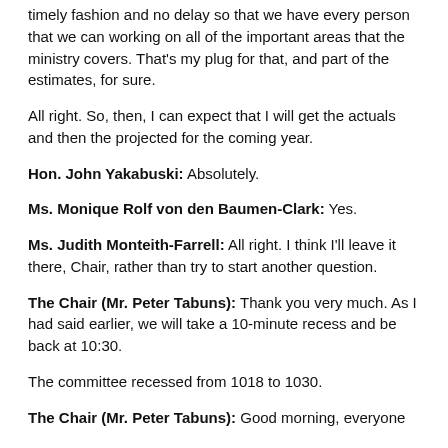timely fashion and no delay so that we have every person that we can working on all of the important areas that the ministry covers. That's my plug for that, and part of the estimates, for sure.
All right. So, then, I can expect that I will get the actuals and then the projected for the coming year.
Hon. John Yakabuski: Absolutely.
Ms. Monique Rolf von den Baumen-Clark: Yes.
Ms. Judith Monteith-Farrell: All right. I think I'll leave it there, Chair, rather than try to start another question.
The Chair (Mr. Peter Tabuns): Thank you very much. As I had said earlier, we will take a 10-minute recess and be back at 10:30.
The committee recessed from 1018 to 1030.
The Chair (Mr. Peter Tabuns): Good morning, everyone